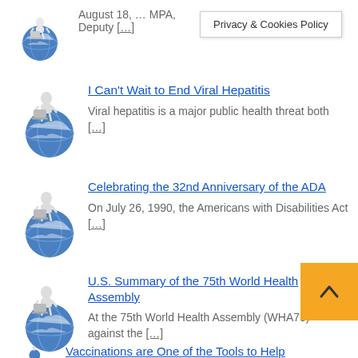August 18, … MPA, Deputy […]
Privacy & Cookies Policy
I Can't Wait to End Viral Hepatitis — Viral hepatitis is a major public health threat both […]
Celebrating the 32nd Anniversary of the ADA — On July 26, 1990, the Americans with Disabilities Act […]
U.S. Summary of the 75th World Health Assembly — At the 75th World Health Assembly (WHA75) against the […]
Vaccinations are One of the Tools to Help Eliminate…